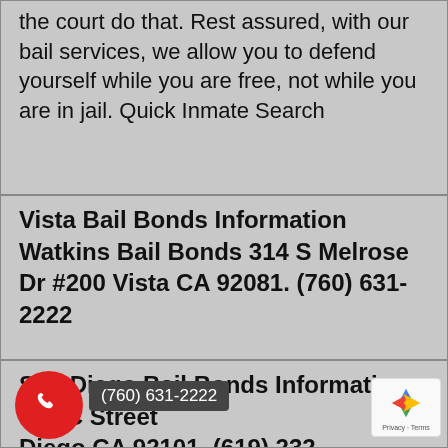We don't judge anyone, as we let the court do that. Rest assured, with our bail services, we allow you to defend yourself while you are free, not while you are in jail. Quick Inmate Search
Vista Bail Bonds Information Watkins Bail Bonds 314 S Melrose Dr #200 Vista CA 92081. (760) 631-2222
San Diego Bail Bonds Information 942 C Street Diego CA 92101. (619) 232-...